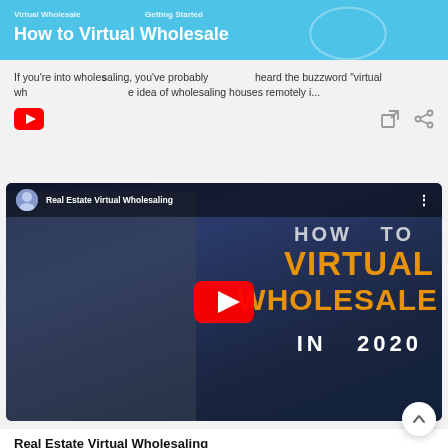How to Virtual Wholesale
If you're into wholesaling, you've probably heard the buzzword "virtual wholesaling"... the idea of wholesaling houses remotely i...
[Figure (screenshot): YouTube video thumbnail for 'Real Estate Virtual Wholesaling' showing a man pointing to text that reads 'HOW TO VIRTUAL WHOLESALE IN 2020' in orange and white on a dark blue background. A YouTube play button is visible in the center.]
Real Estate Virtual Wholesaling